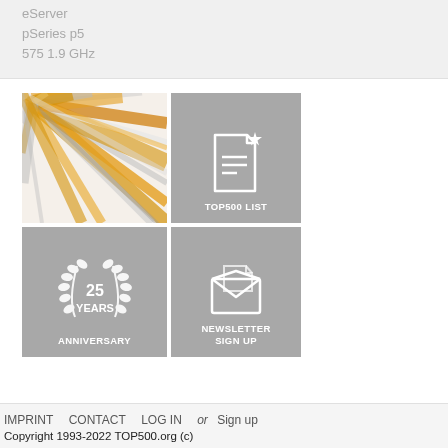eServer
pSeries p5
575 1.9 GHz
[Figure (illustration): 2x2 grid of image tiles: top-left is an abstract orange/gray burst pattern image, top-right is a gray tile with a TOP500 LIST icon (document with star and lines), bottom-left is a gray tile with 25 YEARS ANNIVERSARY wreath icon, bottom-right is a gray tile with NEWSLETTER SIGN UP envelope icon]
IMPRINT   CONTACT   LOG IN   or  Sign up
Copyright 1993-2022 TOP500.org (c)